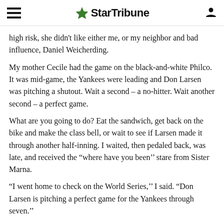StarTribune
high risk, she didn't like either me, or my neighbor and bad influence, Daniel Weicherding.
My mother Cecile had the game on the black-and-white Philco. It was mid-game, the Yankees were leading and Don Larsen was pitching a shutout. Wait a second – a no-hitter. Wait another second – a perfect game.
What are you going to do? Eat the sandwich, get back on the bike and make the class bell, or wait to see if Larsen made it through another half-inning. I waited, then pedaled back, was late, and received the “where have you been’’ stare from Sister Marna.
“I went home to check on the World Series,’’ I said. “Don Larsen is pitching a perfect game for the Yankees through seven.’’
This was baseball and the World Series in America in the mid-1950s, and a grade-school nun understood the importance of this, — It might have been the solution Sister Marna accepted.